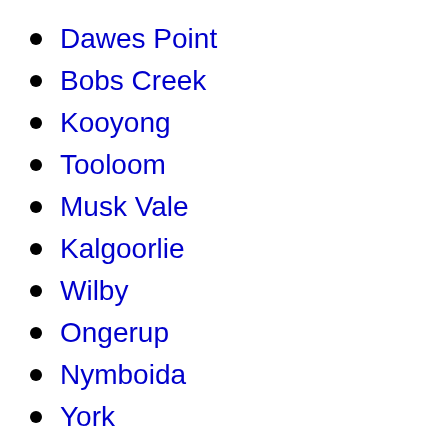Dawes Point
Bobs Creek
Kooyong
Tooloom
Musk Vale
Kalgoorlie
Wilby
Ongerup
Nymboida
York
Rocklea